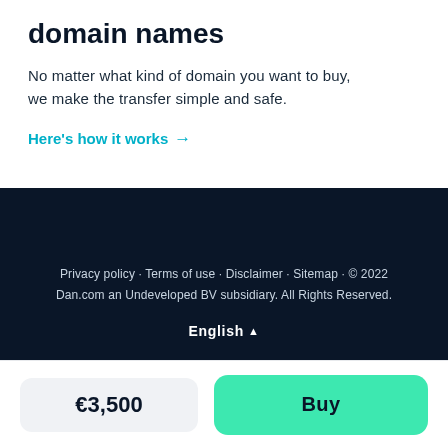domain names
No matter what kind of domain you want to buy, we make the transfer simple and safe.
Here's how it works →
Privacy policy · Terms of use · Disclaimer · Sitemap · © 2022 Dan.com an Undeveloped BV subsidiary. All Rights Reserved.
English ▲
€3,500
Buy